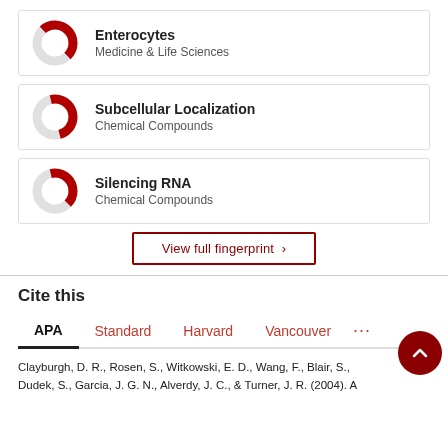[Figure (donut-chart): Donut chart showing ~50% fill in dark red for Enterocytes, Medicine & Life Sciences]
Enterocytes
Medicine & Life Sciences
[Figure (donut-chart): Donut chart showing ~50% fill in dark red for Subcellular Localization, Chemical Compounds]
Subcellular Localization
Chemical Compounds
[Figure (donut-chart): Donut chart showing ~40% fill in dark red for Silencing RNA, Chemical Compounds]
Silencing RNA
Chemical Compounds
View full fingerprint ›
Cite this
APA  Standard  Harvard  Vancouver  ...
Clayburgh, D. R., Rosen, S., Witkowski, E. D., Wang, F., Blair, S., Dudek, S., Garcia, J. G. N., Alverdy, J. C., & Turner, J. R. (2004). A